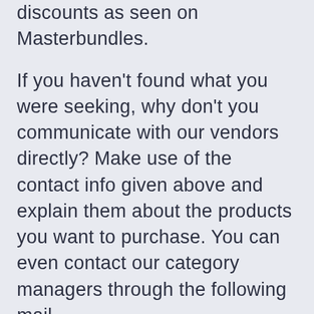discounts as seen on Masterbundles.
If you haven't found what you were seeking, why don't you communicate with our vendors directly? Make use of the contact info given above and explain them about the products you want to purchase. You can even contact our category managers through the following mail address:deals@masterbundles.com, and we will do anything we can to deliver the required package deal to you at a bargain price.
Thank you for checking out our marketplace! We hope to be seeing you here over and over again. Mastebundles is where perfect design elements meet internet marketers, SMM specialists, marketing specialists, and developers.